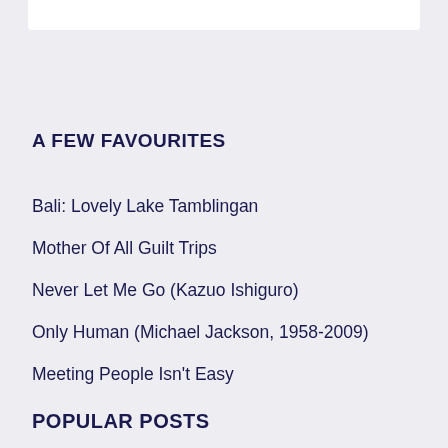A FEW FAVOURITES
Bali: Lovely Lake Tamblingan
Mother Of All Guilt Trips
Never Let Me Go (Kazuo Ishiguro)
Only Human (Michael Jackson, 1958-2009)
Meeting People Isn't Easy
POPULAR POSTS
Gyrating For Jesus: A Guide To Sun Ho's Greatest “Hits”